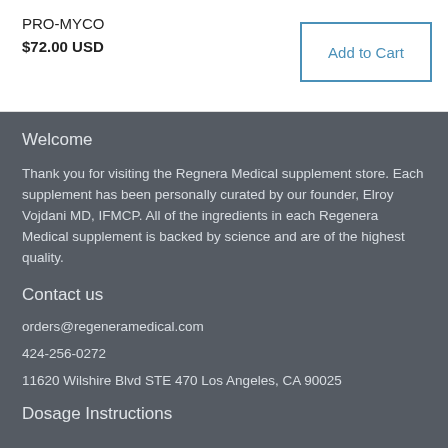PRO-MYCO
$72.00 USD
Add to Cart
Welcome
Thank you for visiting the Regnera Medical supplement store. Each supplement has been personally curated by our founder, Elroy Vojdani MD, IFMCP. All of the ingredients in each Regenera Medical supplement is backed by science and are of the highest quality.
Contact us
orders@regeneramedical.com
424-256-0272
11620 Wilshire Blvd STE 470 Los Angeles, CA 90025
Dosage Instructions